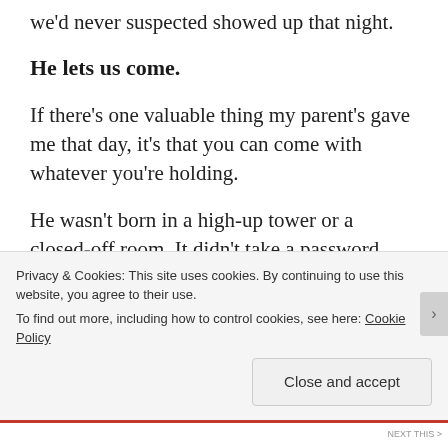we'd never suspected showed up that night.
He lets us come.
If there's one valuable thing my parent's gave me that day, it's that you can come with whatever you're holding.
He wasn't born in a high-up tower or a closed-off room. It didn't take a password, visitor's pass or keycard to get in the door. He was
Privacy & Cookies: This site uses cookies. By continuing to use this website, you agree to their use.
To find out more, including how to control cookies, see here: Cookie Policy
Close and accept